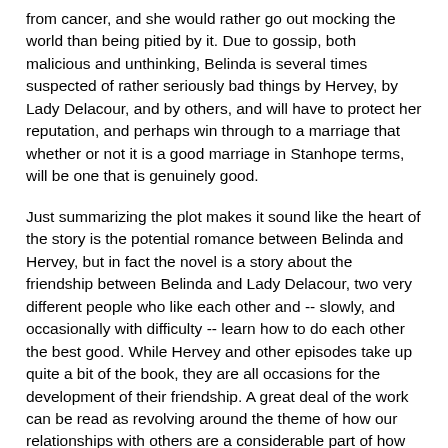from cancer, and she would rather go out mocking the world than being pitied by it. Due to gossip, both malicious and unthinking, Belinda is several times suspected of rather seriously bad things by Hervey, by Lady Delacour, and by others, and will have to protect her reputation, and perhaps win through to a marriage that whether or not it is a good marriage in Stanhope terms, will be one that is genuinely good.
Just summarizing the plot makes it sound like the heart of the story is the potential romance between Belinda and Hervey, but in fact the novel is a story about the friendship between Belinda and Lady Delacour, two very different people who like each other and -- slowly, and occasionally with difficulty -- learn how to do each other the best good. While Hervey and other episodes take up quite a bit of the book, they are all occasions for the development of their friendship. A great deal of the work can be read as revolving around the theme of how our relationships with others are a considerable part of how good we are and how good are lives can be. Belinda and Lady Delacour both grow through their friendship, of course. In some ways the marriage